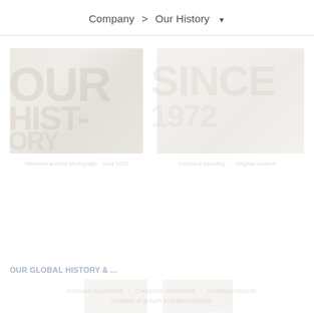Company > Our History ▼
[Figure (photo): Faded/watermarked page content showing two historical photo blocks in upper section, a section label, and additional faded images and text in lower section. Content is largely obscured/very low opacity.]